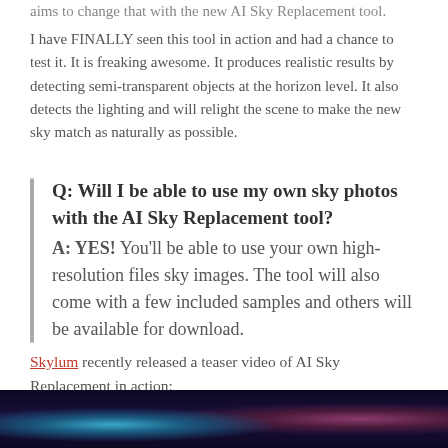aims to change that with the new AI Sky Replacement tool.
I have FINALLY seen this tool in action and had a chance to test it. It is freaking awesome. It produces realistic results by detecting semi-transparent objects at the horizon level. It also detects the lighting and will relight the scene to make the new sky match as naturally as possible.
Q: Will I be able to use my own sky photos with the AI Sky Replacement tool? A: YES! You'll be able to use your own high-resolution files sky images. The tool will also come with a few included samples and others will be available for download.
Skylum recently released a teaser video of AI Sky Replacement in action:
[Figure (photo): Dark nighttime sky scene with glowing teal and purple/magenta light sources or orbs visible against a deep dark background]